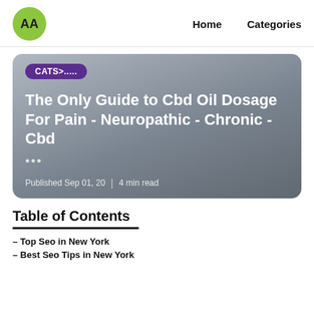[Figure (logo): Green circle logo with letters AA]
Home   Categories
[Figure (infographic): Blog post card with gradient gray background, CATS>..... badge, title 'The Only Guide to Cbd Oil Dosage For Pain - Neuropathic - Chronic - Cbd', ellipsis, Published Sep 01, 20 | 4 min read]
Table of Contents
– Top Seo in New York
– Best Seo Tips in New York